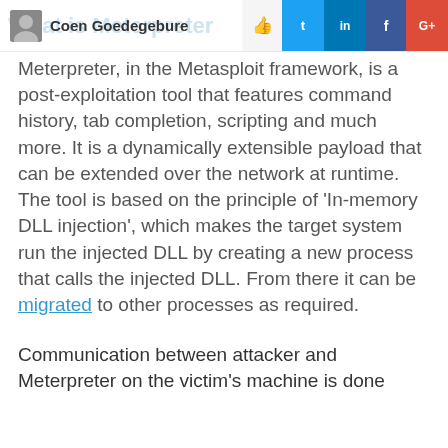Coen Goedegebure
Meterpreter, in the Metasploit framework, is a post-exploitation tool that features command history, tab completion, scripting and much more. It is a dynamically extensible payload that can be extended over the network at runtime. The tool is based on the principle of 'In-memory DLL injection', which makes the target system run the injected DLL by creating a new process that calls the injected DLL. From there it can be migrated to other processes as required.
Communication between attacker and Meterpreter on the victim's machine is done